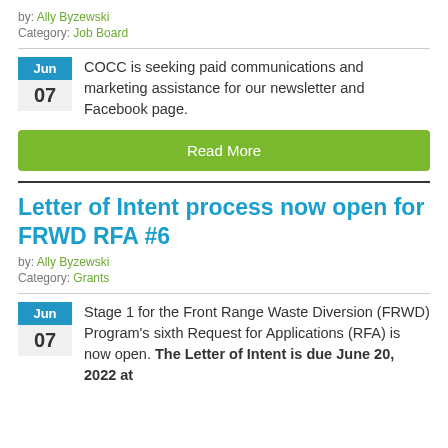by: Ally Byzewski
Category: Job Board
COCC is seeking paid communications and marketing assistance for our newsletter and Facebook page.
Read More
Letter of Intent process now open for FRWD RFA #6
by: Ally Byzewski
Category: Grants
Stage 1 for the Front Range Waste Diversion (FRWD) Program's sixth Request for Applications (RFA) is now open. The Letter of Intent is due June 20, 2022 at